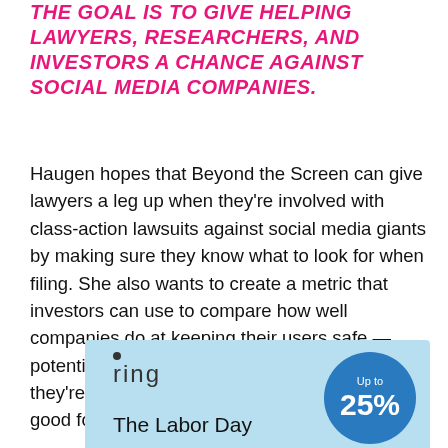THE GOAL IS TO GIVE HELPING LAWYERS, RESEARCHERS, AND INVESTORS A CHANCE AGAINST SOCIAL MEDIA COMPANIES.
Haugen hopes that Beyond the Screen can give lawyers a leg up when they're involved with class-action lawsuits against social media giants by making sure they know what to look for when filing. She also wants to create a metric that investors can use to compare how well companies do at keeping their users safe — potentially giving them a way to justify why they're divesting from a company that may be good for business, but bad for society.
[Figure (other): Ring advertisement banner showing 'ring' logo, 'The Labor Day' text, and a blue circle with 'Up to 25%' text on a light blue background.]